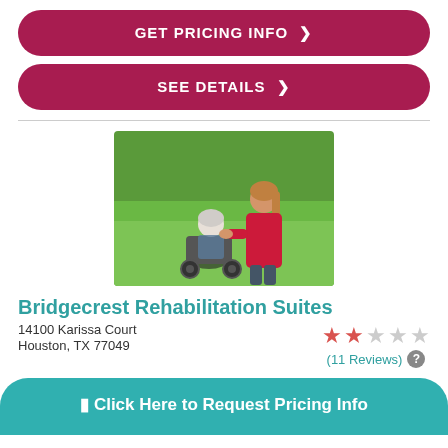GET PRICING INFO ❯
SEE DETAILS ❯
[Figure (photo): Caregiver in red shirt walking alongside elderly person in wheelchair on green lawn, viewed from behind]
Bridgecrest Rehabilitation Suites
14100 Karissa Court
Houston, TX 77049
★★☆☆☆ (11 Reviews)
Click Here to Request Pricing Info